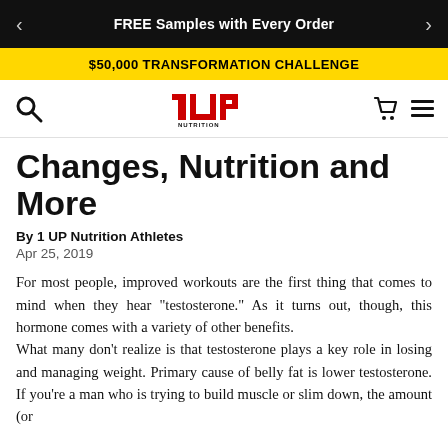FREE Samples with Every Order
$50,000 TRANSFORMATION CHALLENGE
[Figure (logo): 1UP Nutrition logo in red and black]
Changes, Nutrition and More
By 1 UP Nutrition Athletes
Apr 25, 2019
For most people, improved workouts are the first thing that comes to mind when they hear "testosterone." As it turns out, though, this hormone comes with a variety of other benefits.
What many don't realize is that testosterone plays a key role in losing and managing weight. Primary cause of belly fat is lower testosterone. If you're a man who is trying to build muscle or slim down, the amount (or